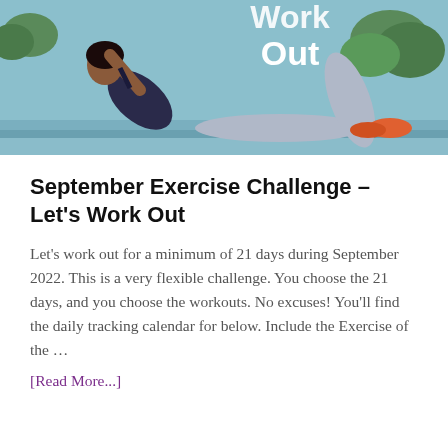[Figure (photo): A woman doing sit-ups or crunches outdoors, wearing a dark tank top and grey leggings with orange sneakers. Text overlay reads 'Work Out' in white bold font. Background shows trees and water.]
September Exercise Challenge – Let's Work Out
Let's work out for a minimum of 21 days during September 2022. This is a very flexible challenge. You choose the 21 days, and you choose the workouts. No excuses! You'll find the daily tracking calendar for below. Include the Exercise of the …
[Read More...]